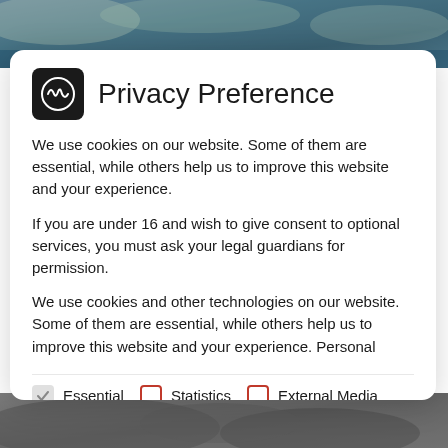[Figure (photo): Aerial/landscape photo background at top]
Privacy Preference
We use cookies on our website. Some of them are essential, while others help us to improve this website and your experience.
If you are under 16 and wish to give consent to optional services, you must ask your legal guardians for permission.
We use cookies and other technologies on our website. Some of them are essential, while others help us to improve this website and your experience. Personal
Essential (checked)
Statistics (unchecked)
External Media (unchecked)
[Figure (photo): Landscape/rock photo background at bottom]